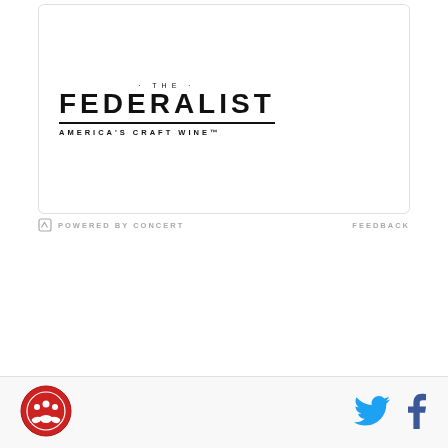[Figure (logo): The Federalist America's Craft Wine logo — brand name in bold serif/gothic lettering with tagline below]
POWERED BY CONCERT
FEEDBACK
[Figure (logo): Circular red site badge/logo in footer]
[Figure (illustration): Twitter bird icon in blue]
[Figure (illustration): Facebook f icon in dark blue]